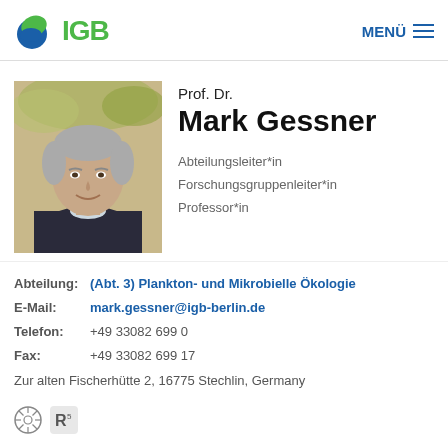IGB — MENÜ
[Figure (photo): Portrait photo of Prof. Dr. Mark Gessner, a middle-aged man with short grey hair, smiling, wearing a dark jacket, outdoors with blurred foliage background]
Prof. Dr. Mark Gessner
Abteilungsleiter*in
Forschungsgruppenleiter*in
Professor*in
Abteilung: (Abt. 3) Plankton- und Mikrobielle Ökologie
E-Mail: mark.gessner@igb-berlin.de
Telefon: +49 33082 699 0
Fax: +49 33082 699 17
Zur alten Fischerhütte 2, 16775 Stechlin, Germany
[Figure (logo): Small circular icon and R logo icons at the bottom of the page]